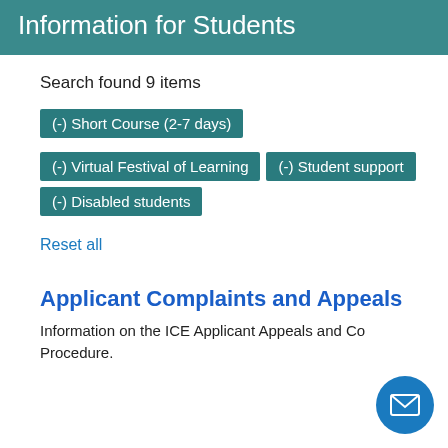Information for Students
Search found 9 items
(-) Short Course (2-7 days)
(-) Virtual Festival of Learning
(-) Student support
(-) Disabled students
Reset all
Applicant Complaints and Appeals
Information on the ICE Applicant Appeals and Complaints Procedure.